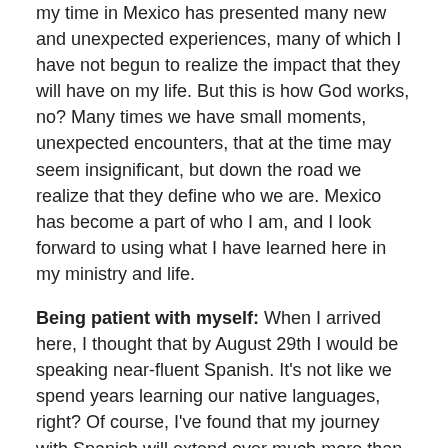my time in Mexico has presented many new and unexpected experiences, many of which I have not begun to realize the impact that they will have on my life. But this is how God works, no? Many times we have small moments, unexpected encounters, that at the time may seem insignificant, but down the road we realize that they define who we are. Mexico has become a part of who I am, and I look forward to using what I have learned here in my ministry and life.
Being patient with myself: When I arrived here, I thought that by August 29th I would be speaking near-fluent Spanish. It's not like we spend years learning our native languages, right? Of course, I've found that my journey with Spanish will extend over much more than three months, and I am at peace with that. In any new endeavour, we need to have patience with ourselves.